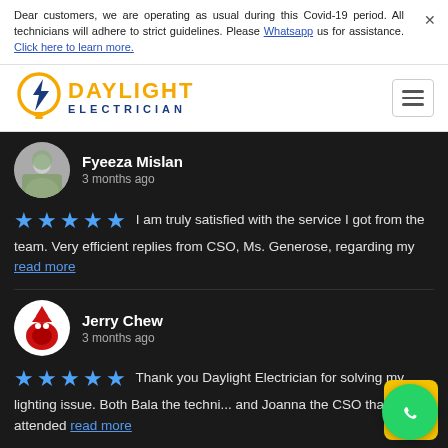Dear customers, we are operating as usual during this Covid-19 period. All technicians will adhere to strict guidelines. Please Whatsapp us for assistance. Click here to learn more.
[Figure (logo): Daylight Electrician logo with lightning bolt and bulb icon in yellow/blue]
Fyeeza Mislan
3 months ago
★★★★★ I am truly satisfied with the service I got from the team. Very efficient replies from CSO, Ms. Generose, regarding my read more
Jerry Chew
3 months ago
★★★★★ Thank you Daylight Electrician for solving my lighting issue. Both Bala the techni... and Joanna the CSO that attended read more
Simal Mabim
4 months ago